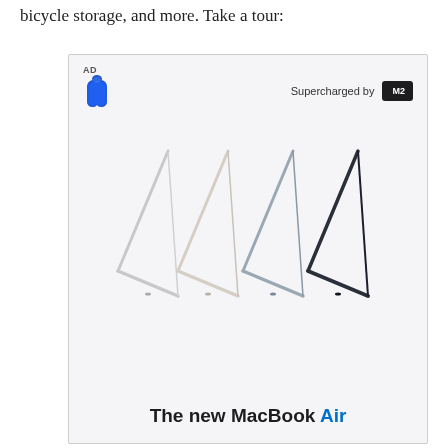bicycle storage, and more. Take a tour:
[Figure (photo): Apple advertisement for the new MacBook Air, supercharged by M2 chip. Shows four MacBook Air laptops in different colors (silver, starlight, blue-grey, midnight) opened at angles forming chevron/arrow shapes pointing right. Text reads 'The new MacBook Air' with Apple logo and 'Supercharged by M2' branding.]